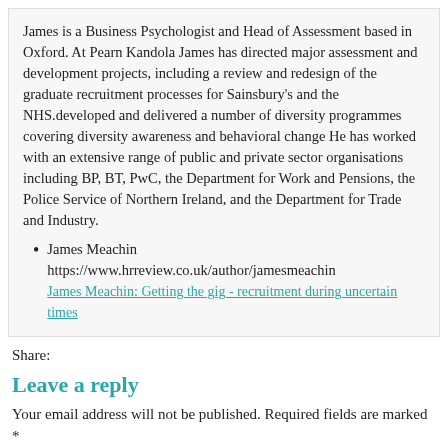James is a Business Psychologist and Head of Assessment based in Oxford. At Pearn Kandola James has directed major assessment and development projects, including a review and redesign of the graduate recruitment processes for Sainsbury's and the NHS.developed and delivered a number of diversity programmes covering diversity awareness and behavioral change He has worked with an extensive range of public and private sector organisations including BP, BT, PwC, the Department for Work and Pensions, the Police Service of Northern Ireland, and the Department for Trade and Industry.
James Meachin
https://www.hrreview.co.uk/author/jamesmeachin
James Meachin: Getting the gig - recruitment during uncertain times
Share:
Leave a reply
Your email address will not be published. Required fields are marked *
COMMENT